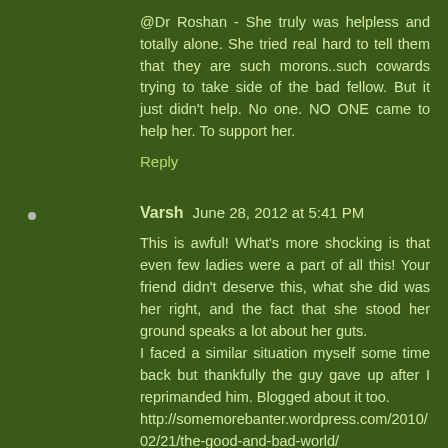@Dr Roshan - She truly was helpless and totally alone. She tried real hard to tell them that they are such morons..such cowards trying to take side of the bad fellow. But it just didn't help. No one. NO ONE came to help her. To support her.
Reply
Varsh  June 28, 2012 at 5:41 PM
This is awful! What's more shocking is that even few ladies were a part of all this! Your friend didn't deserve this, what she did was her right, and the fact that she stood her ground speaks a lot about her guts.
I faced a similar situation myself some time back but thankfully the guy gave up after I reprimanded him. Blogged about it too.
http://somemorebanter.wordpress.com/2010/02/21/the-good-and-bad-world/
Reply